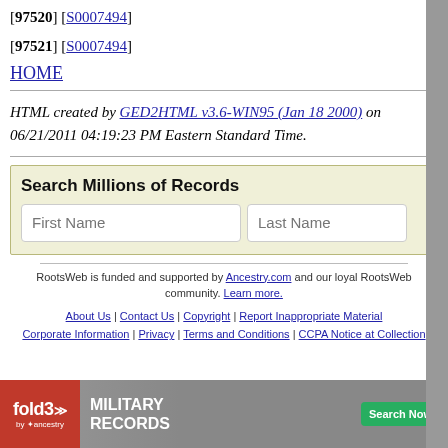[97520] [S0007494]
[97521] [S0007494]
HOME
HTML created by GED2HTML v3.6-WIN95 (Jan 18 2000) on 06/21/2011 04:19:23 PM Eastern Standard Time.
[Figure (other): Search Millions of Records box with First Name and Last Name input fields, light yellow background]
RootsWeb is funded and supported by Ancestry.com and our loyal RootsWeb community. Learn more.
About Us | Contact Us | Copyright | Report Inappropriate Material Corporate Information | Privacy | Terms and Conditions | CCPA Notice at Collection
[Figure (other): fold3 Military Records advertisement banner with Search Now button]